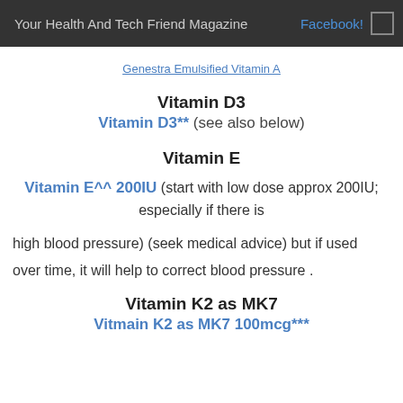Your Health And Tech Friend Magazine   Facebook!
Genestra Emulsified Vitamin A
Vitamin D3
Vitamin D3** (see also below)
Vitamin E
Vitamin E^^ 200IU (start with low dose approx 200IU; especially if there is
high blood pressure) (seek medical advice) but if used over time, it will help to correct blood pressure .
Vitamin K2 as MK7
Vitmain K2 as MK7 100mcg***